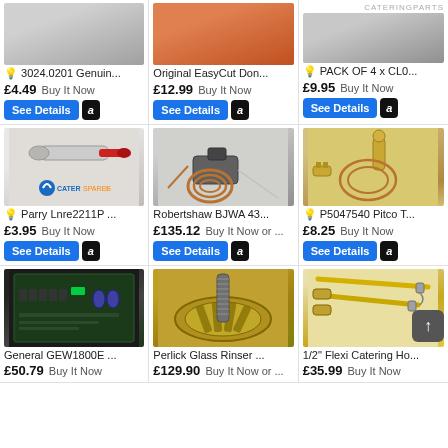[Figure (photo): Product image row 1 col 1 - partial view of item]
🔆 3024.0201 Genuin...
£4.49 Buy It Now
[Figure (photo): Product image row 1 col 2 - EasyCut item]
Original EasyCut Don...
£12.99 Buy It Now
[Figure (photo): Product image row 1 col 3 - pack of items]
🔆 PACK OF 4 x CL0...
£9.95 Buy It Now
[Figure (photo): Parry Lnre2211P product - red-tipped part with CaterSpares logo]
🔆 Parry Lnre2211P ...
£3.95 Buy It Now
[Figure (photo): Robertshaw BJWA 43 gas valve with copper coil]
Robertshaw BJWA 43...
£135.12 Buy It Now or ...
[Figure (photo): P5047540 Pitco T thermocouple with gold fittings]
🔆 P5047540 Pitco T...
£8.25 Buy It Now
[Figure (photo): General GEW1800E circuit board]
General GEW1800E ...
£50.79 Buy It Now
[Figure (photo): Perlick Glass Rinser gold circular part]
Perlick Glass Rinser ...
£129.90 Buy It Now or ...
[Figure (photo): 1/2 inch Flexi Catering Hose - yellow flexible hose]
1/2" Flexi Catering Ho...
£35.99 Buy It Now